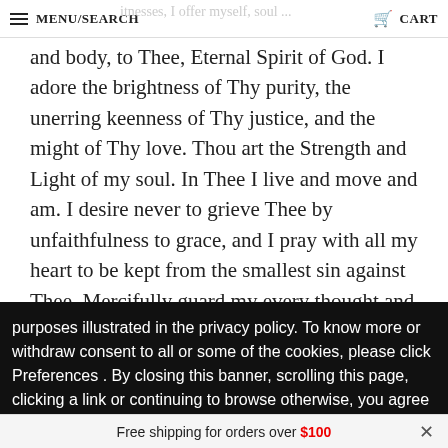MENU/SEARCH   CART
and body, to Thee, Eternal Spirit of God. I adore the brightness of Thy purity, the unerring keenness of Thy justice, and the might of Thy love. Thou art the Strength and Light of my soul. In Thee I live and move and am. I desire never to grieve Thee by unfaithfulness to grace, and I pray with all my heart to be kept from the smallest sin against Thee. Mercifully guard my every thought and grant that I may always
purposes illustrated in the privacy policy. To know more or withdraw consent to all or some of the cookies, please click Preferences . By closing this banner, scrolling this page, clicking a link or continuing to browse otherwise, you agree to the use of cookies. Privacy Policy
Free shipping for orders over $100